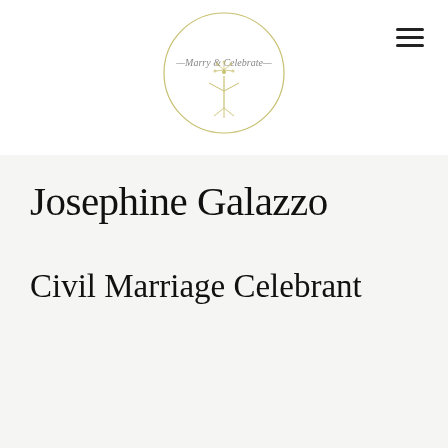[Figure (logo): Marry & Celebrate circular logo with floral/dandelion motif and script text]
Josephine Galazzo
Civil Marriage Celebrant